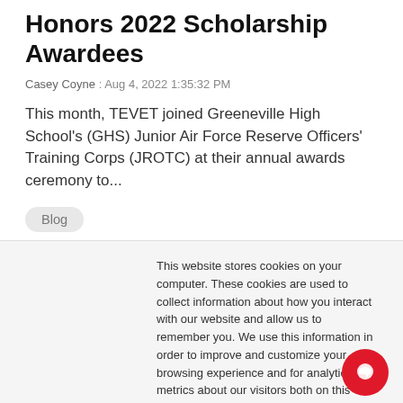Honors 2022 Scholarship Awardees
Casey Coyne : Aug 4, 2022 1:35:32 PM
This month, TEVET joined Greeneville High School's (GHS) Junior Air Force Reserve Officers' Training Corps (JROTC) at their annual awards ceremony to...
Blog
This website stores cookies on your computer. These cookies are used to collect information about how you interact with our website and allow us to remember you. We use this information in order to improve and customize your browsing experience and for analytics and metrics about our visitors both on this website and other media. To find out more about the cookies we use, see our Privacy Policy
Accept
Decline